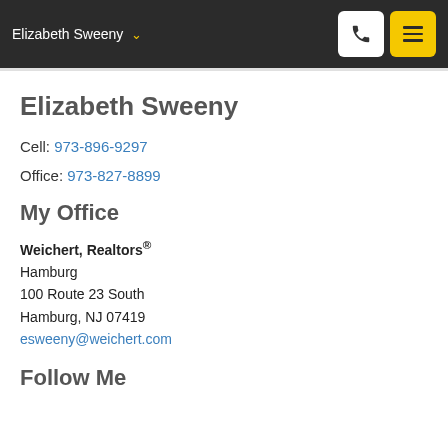Elizabeth Sweeny
Elizabeth Sweeny
Cell: 973-896-9297
Office: 973-827-8899
My Office
Weichert, Realtors®
Hamburg
100 Route 23 South
Hamburg, NJ 07419
esweeny@weichert.com
Follow Me